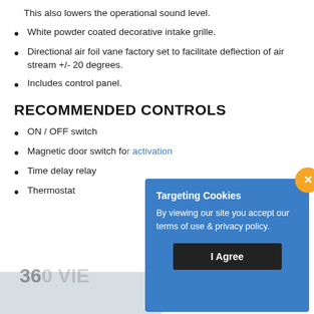This also lowers the operational sound level.
White powder coated decorative intake grille.
Directional air foil vane factory set to facilitate deflection of air stream +/- 20 degrees.
Includes control panel.
RECOMMENDED CONTROLS
ON / OFF switch
Magnetic door switch for activation
Time delay relay
Thermostat
[Figure (screenshot): Targeting Cookies overlay dialog with blue background, close button (orange X), body text 'By viewing our site you accept our terms of use & privacy policy.', and a dark 'I Agree' button.]
360 VIEW